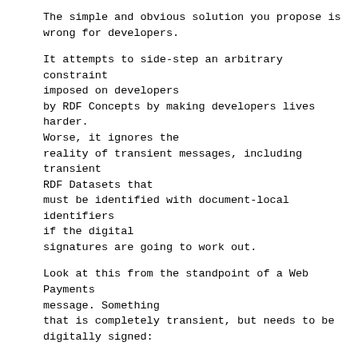The simple and obvious solution you propose is wrong for developers.
It attempts to side-step an arbitrary constraint imposed on developers by RDF Concepts by making developers lives harder. Worse, it ignores the reality of transient messages, including transient RDF Datasets that must be identified with document-local identifiers if the digital signatures are going to work out.
Look at this from the standpoint of a Web Payments message. Something that is completely transient, but needs to be digitally signed:
[{
  "@graph": {
    "source": "http://mybank.com/accounts/manu",
    "destination":
"http://yourbank.com/accounts/richard",
    "amount": "5.00",
    "currency": "USD"
  }
},{
  "@graph": {
    "source": "http://mybank.com/accounts/manu"